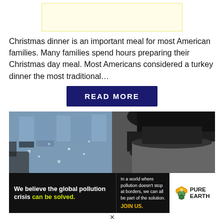[Figure (other): Light yellow advertisement banner placeholder at top]
Christmas dinner is an important meal for most American families. Many families spend hours preparing their Christmas day meal. Most Americans considered a turkey dinner the most traditional...
READ MORE
[Figure (photo): Two-panel Christmas movie still: left shows a snowy city street scene with building facade, right shows a man wearing a black top hat]
[Figure (other): Pure Earth advertisement banner: 'We believe the global pollution crisis can be solved.' with logo]